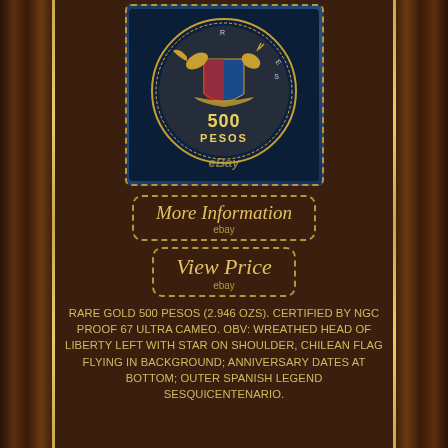[Figure (photo): Gold 500 Pesos Chilean commemorative coin showing reverse/obverse with coat of arms and denomination, displayed against blue background with dotted border frame, eBay watermark visible]
More Information
ebay
View Price
ebay
RARE GOLD 500 PESOS (2.946 OZS). CERTIFIED BY NGC PROOF 67 ULTRA CAMEO. OBV: WREATHED HEAD OF LIBERTY LEFT WITH STAR ON SHOULDER, CHILEAN FLAG FLYING IN BACKGROUND; ANNIVERSARY DATES AT BOTTOM; OUTER SPANISH LEGEND SESQUICENTENARIO.